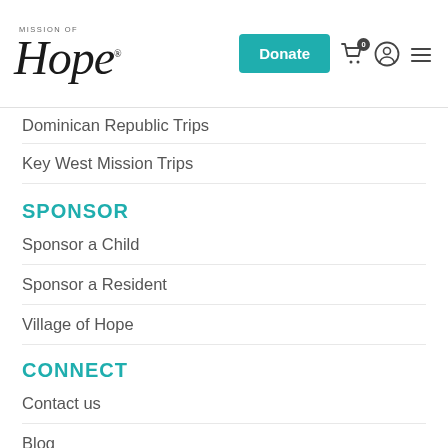Mission of Hope — Donate, Cart (0), User, Menu
Dominican Republic Trips
Key West Mission Trips
SPONSOR
Sponsor a Child
Sponsor a Resident
Village of Hope
CONNECT
Contact us
Blog
Initiate Password
Careers